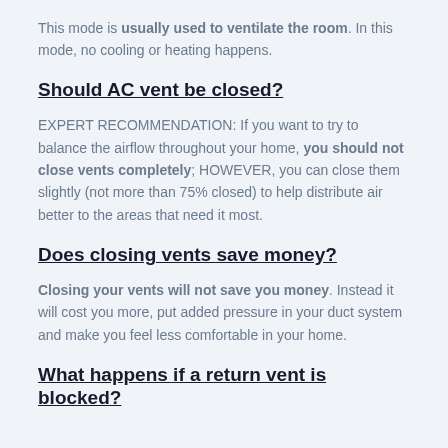This mode is usually used to ventilate the room. In this mode, no cooling or heating happens.
Should AC vent be closed?
EXPERT RECOMMENDATION: If you want to try to balance the airflow throughout your home, you should not close vents completely; HOWEVER, you can close them slightly (not more than 75% closed) to help distribute air better to the areas that need it most.
Does closing vents save money?
Closing your vents will not save you money. Instead it will cost you more, put added pressure in your duct system and make you feel less comfortable in your home.
What happens if a return vent is blocked?